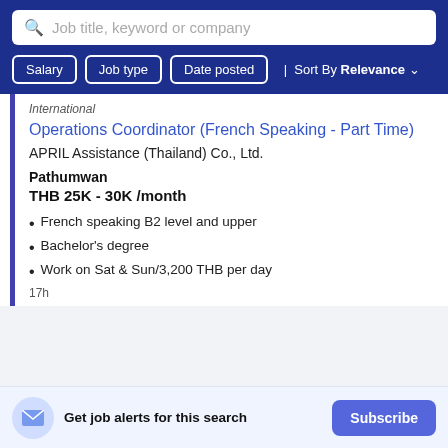Job title, keyword or company
Salary | Job type | Date posted | Sort By Relevance
International
Operations Coordinator (French Speaking - Part Time)
APRIL Assistance (Thailand) Co., Ltd.
Pathumwan
THB 25K - 30K /month
French speaking B2 level and upper
Bachelor's degree
Work on Sat & Sun/3,200 THB per day
Get job alerts for this search
Subscribe